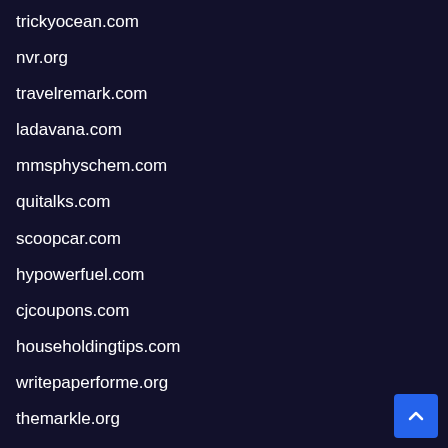trickyocean.com
nvr.org
travelremark.com
ladavana.com
mmsphyschem.com
quitalks.com
scoopcar.com
hypowerfuel.com
cjcoupons.com
householdingtips.com
writepaperforme.org
themarkle.org
new-repair.com
bouldersportsmedicine.org
thethus.com